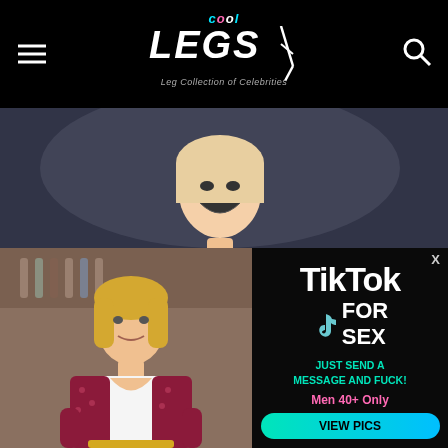Cool Legs - Leg Collection of Celebrities
[Figure (photo): Celebrity woman in white shirt laughing on stage dark background]
[Figure (photo): Blonde woman in white top and red blazer at restaurant bar]
[Figure (advertisement): TikTok for Sex advertisement with 'Just send a message and fuck! Men 40+ Only' and VIEW PICS button]